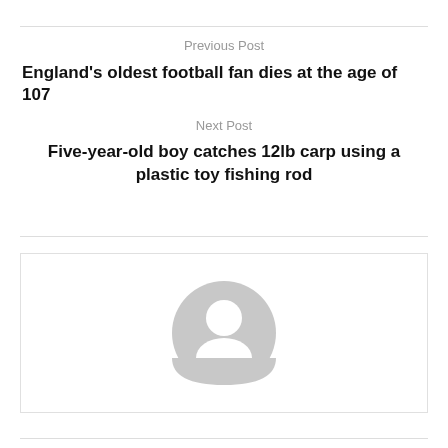Previous Post
England's oldest football fan dies at the age of 107
Next Post
Five-year-old boy catches 12lb carp using a plastic toy fishing rod
[Figure (illustration): Generic user avatar icon — a grey circle with a white silhouette of a person (head and shoulders)]